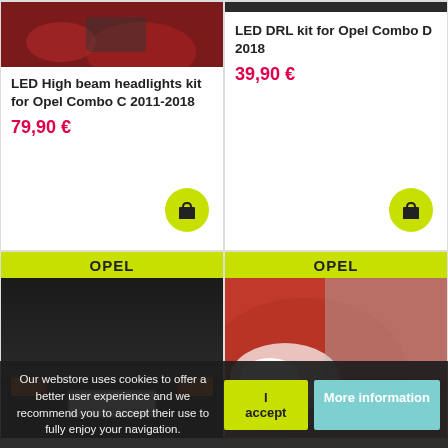[Figure (photo): Photo of red Opel car rear (partial, top cropped) - top left product card]
LED High beam headlights kit for Opel Combo C 2011-2018
79,90 €
[Figure (photo): Dark photo of Opel car (partial, mostly black) - top right product card]
LED DRL kit for Opel Combo D 2018
39,90 €
[Figure (photo): Photo of license plate illuminated by white LED light with red tail lights visible, with OPEL label]
[Figure (photo): Photo of red Opel car front with bright headlights, with OPEL label]
Our webstore uses cookies to offer a better user experience and we recommend you to accept their use to fully enjoy your navigation.